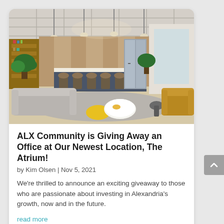[Figure (photo): Interior photo of a modern office lounge/kitchen area with a bar counter with dark stools, pendant lights, a large refrigerator, wood paneling, a light grey curved sofa, a yellow ottoman, a white round coffee table, a mustard/golden sofa, and plant greenery.]
ALX Community is Giving Away an Office at Our Newest Location, The Atrium!
by Kim Olsen | Nov 5, 2021
We're thrilled to announce an exciting giveaway to those who are passionate about investing in Alexandria's growth, now and in the future.
read more